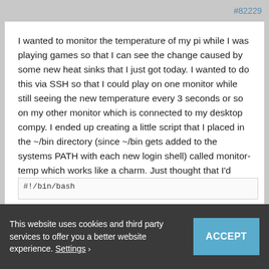#82229
I wanted to monitor the temperature of my pi while I was playing games so that I can see the change caused by some new heat sinks that I just got today. I wanted to do this via SSH so that I could play on one monitor while still seeing the new temperature every 3 seconds or so on my other monitor which is connected to my desktop compy. I ended up creating a little script that I placed in the ~/bin directory (since ~/bin gets added to the systems PATH with each new login shell) called monitor-temp which works like a charm. Just thought that I'd share it with any others who might find it useful.
A full explanation of what I did can be found here: http://raspberrypi.stackexchange.com/a/24206/22221
Here is the script:
#!/bin/bash...
This website uses cookies and third party services to offer you a better website experience. Settings › ACCEPT